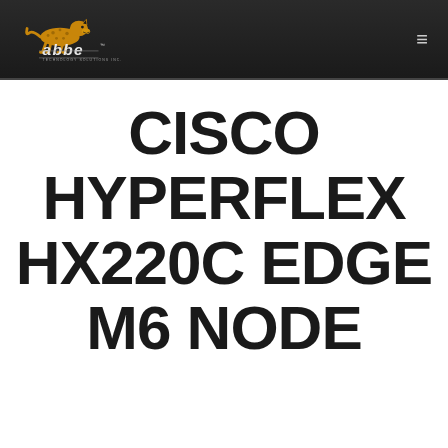[Figure (logo): Abbe Technology Solutions Inc. logo with golden cheetah graphic and stylized 'abbe' wordmark on dark header background]
CISCO HYPERFLEX HX220C EDGE M6 NODE